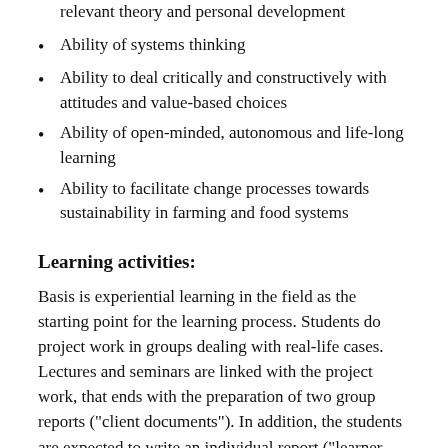relevant theory and personal development
Ability of systems thinking
Ability to deal critically and constructively with attitudes and value-based choices
Ability of open-minded, autonomous and life-long learning
Ability to facilitate change processes towards sustainability in farming and food systems
Learning activities:
Basis is experiential learning in the field as the starting point for the learning process. Students do project work in groups dealing with real-life cases. Lectures and seminars are linked with the project work, that ends with the preparation of two group reports ("client documents"). In addition, the students are expected to write an individual report ("learner document") where they explore their learning